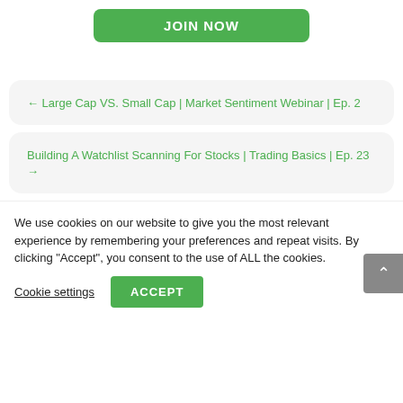[Figure (other): Green JOIN NOW button at top]
← Large Cap VS. Small Cap | Market Sentiment Webinar | Ep. 2
Building A Watchlist Scanning For Stocks | Trading Basics | Ep. 23 →
We use cookies on our website to give you the most relevant experience by remembering your preferences and repeat visits. By clicking "Accept", you consent to the use of ALL the cookies.
Cookie settings
ACCEPT